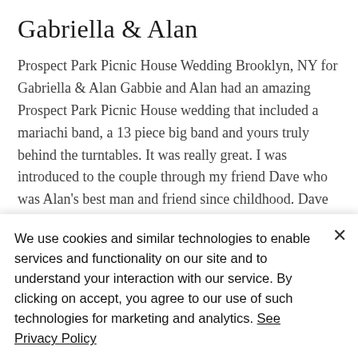Gabriella & Alan
Prospect Park Picnic House Wedding Brooklyn, NY for Gabriella & Alan Gabbie and Alan had an amazing Prospect Park Picnic House wedding that included a mariachi band, a 13 piece big band and yours truly behind the turntables. It was really great. I was introduced to the couple through my friend Dave who was Alan's best man and friend since childhood. Dave is the owner of several bars and nightclubs in Brooklyn and he was his close friend Brian…
We use cookies and similar technologies to enable services and functionality on our site and to understand your interaction with our service. By clicking on accept, you agree to our use of such technologies for marketing and analytics. See Privacy Policy